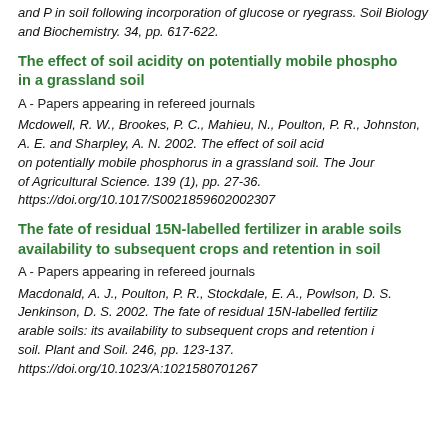and P in soil following incorporation of glucose or ryegrass. Soil Biology and Biochemistry. 34, pp. 617-622.
The effect of soil acidity on potentially mobile phosphorus in a grassland soil
A - Papers appearing in refereed journals
Mcdowell, R. W., Brookes, P. C., Mahieu, N., Poulton, P. R., Johnston, A. E. and Sharpley, A. N. 2002. The effect of soil acidity on potentially mobile phosphorus in a grassland soil. The Journal of Agricultural Science. 139 (1), pp. 27-36. https://doi.org/10.1017/S0021859602002307
The fate of residual 15N-labelled fertilizer in arable soils: availability to subsequent crops and retention in soil
A - Papers appearing in refereed journals
Macdonald, A. J., Poulton, P. R., Stockdale, E. A., Powlson, D. S. and Jenkinson, D. S. 2002. The fate of residual 15N-labelled fertilizer in arable soils: its availability to subsequent crops and retention in soil. Plant and Soil. 246, pp. 123-137. https://doi.org/10.1023/A:1021580701267